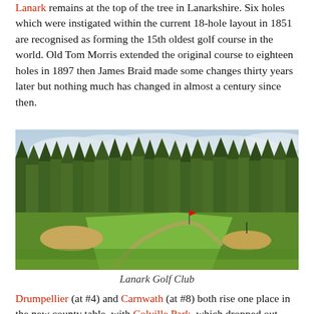Lanark remains at the top of the tree in Lanarkshire. Six holes which were instigated within the current 18-hole layout in 1851 are recognised as forming the 15th oldest golf course in the world. Old Tom Morris extended the original course to eighteen holes in 1897 then James Braid made some changes thirty years later but nothing much has changed in almost a century since then.
[Figure (photo): Photograph of Lanark Golf Club showing a golf course fairway with green grass, sand bunkers, a winding path, and a backdrop of tall pine trees under a partly cloudy sky.]
Lanark Golf Club
Drumpellier (at #4) and Carnwath (at #8) both rise one place in the new county table, with Colville Park, which dropped out under the last revision, returning at No. 9